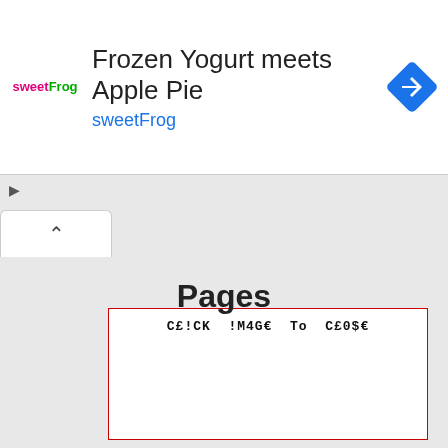[Figure (screenshot): Ad banner for sweetFrog frozen yogurt: logo on left, title 'Frozen Yogurt meets Apple Pie', subtitle 'sweetFrog', blue diamond navigation icon on right]
C£!CK !M4G€ To C£0$€